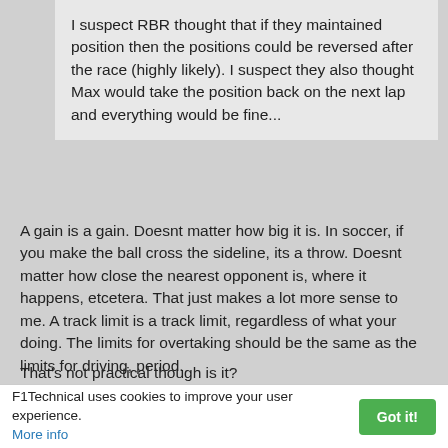I suspect RBR thought that if they maintained position then the positions could be reversed after the race (highly likely). I suspect they also thought Max would take the position back on the next lap and everything would be fine...
A gain is a gain. Doesnt matter how big it is. In soccer, if you make the ball cross the sideline, its a throw. Doesnt matter how close the nearest opponent is, where it happens, etcetera. That just makes a lot more sense to me. A track limit is a track limit, regardless of what your doing. The limits for overtaking should be the same as the limits for driving, period.
That's not practical though is it?
Ham's repeated abuse of track limits was called out and
F1Technical uses cookies to improve your user experience. More info